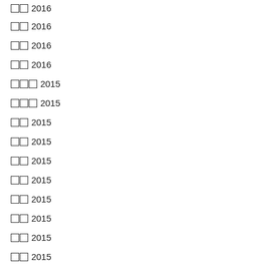□□ 2016
□□ 2016
□□ 2016
□□ 2016
□□□ 2015
□□□ 2015
□□ 2015
□□ 2015
□□ 2015
□□ 2015
□□ 2015
□□ 2015
□□ 2015
□□ 2015